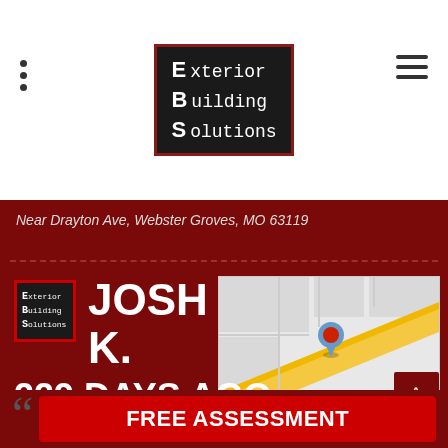[Figure (logo): Exterior Building Solutions logo — black background with red border, letters E, B, S in white with words Exterior, Building, Solutions]
Near Drayton Ave, Webster Groves, MO 63119
[Figure (logo): Small EBS logo thumbnail]
JOSH K.
[Figure (map): Google Maps thumbnail showing location near Drayton Ave Webster Groves MO 63119 with a blue pin marker. Map data ©2022.]
229 DAYS AGO
FREE ASSESSMENT